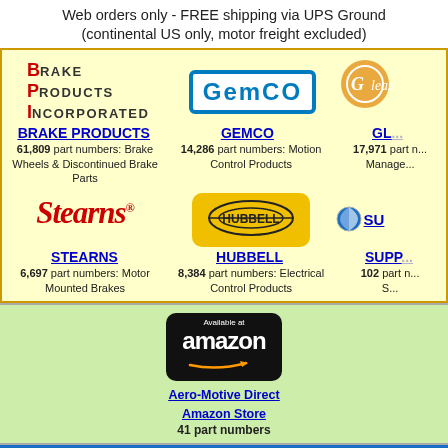Web orders only - FREE shipping via UPS Ground (continental US only, motor freight excluded)
[Figure (logo): BPI - Brake Products Incorporated logo with red B, P, I initials]
[Figure (logo): GEMCO logo in blue border box]
[Figure (logo): Gleason logo partially visible]
BRAKE PRODUCTS
61,809 part numbers: Brake Wheels & Discontinued Brake Parts
GEMCO
14,286 part numbers: Motion Control Products
GL...
17,971 part numbers: Manage...
[Figure (logo): Stearns red italic logo]
[Figure (logo): Hubbell logo on yellow background]
[Figure (logo): Superior/Su logo partially visible]
STEARNS
6,697 part numbers: Motor Mounted Brakes
HUBBELL
8,384 part numbers: Electrical Control Products
SUPP...
102 part numbers: S...
[Figure (logo): Available at Amazon badge - black rounded rectangle with Amazon text and arrow]
Aero-Motive Direct Amazon Store
41 part numbers
AUTOMATIC QUA...
BPI's web orders and web site generated PDF o...